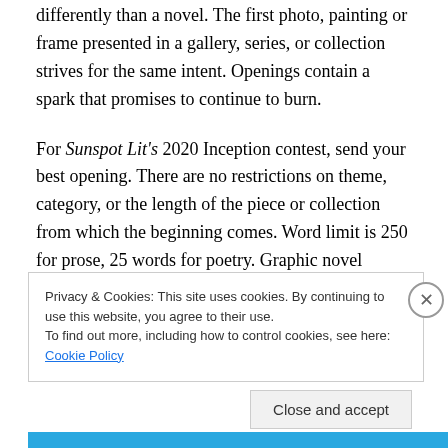differently than a novel. The first photo, painting or frame presented in a gallery, series, or collection strives for the same intent. Openings contain a spark that promises to continue to burn.

For Sunspot Lit's 2020 Inception contest, send your best opening. There are no restrictions on theme, category, or the length of the piece or collection from which the beginning comes. Word limit is 250 for prose, 25 words for poetry. Graphic novel entries should be the first page (unlimited number of panels on that page) with a
Privacy & Cookies: This site uses cookies. By continuing to use this website, you agree to their use.
To find out more, including how to control cookies, see here: Cookie Policy
Close and accept